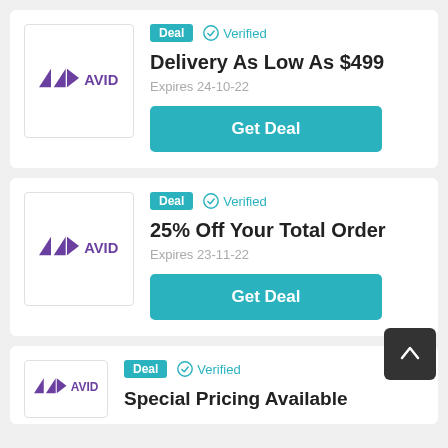[Figure (logo): Avid logo - purple triangles and text]
Deal  ✓ Verified
Delivery As Low As $499
Expires 24-10-22
Get Deal
[Figure (logo): Avid logo - purple triangles and text]
Deal  ✓ Verified
25% Off Your Total Order
Expires 23-11-22
Get Deal
[Figure (logo): Avid logo - purple triangles and text]
Deal  ✓ Verified
Special Pricing Available